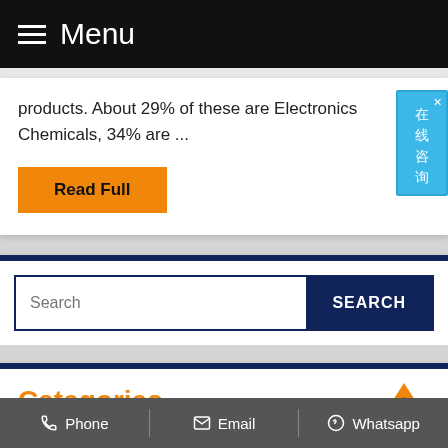Menu
products. About 29% of these are Electronics Chemicals, 34% are ...
Read Full
[Figure (screenshot): Chinese online chat widget with text 在线咨询]
Search
Categories
Chemical for Paper Making
Phone   Email   Whatsapp